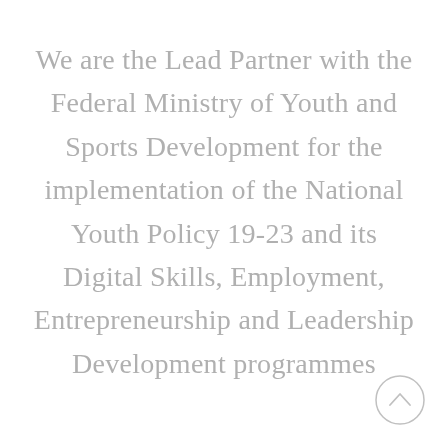We are the Lead Partner with the Federal Ministry of Youth and Sports Development for the implementation of the National Youth Policy 19-23 and its Digital Skills, Employment, Entrepreneurship and Leadership Development programmes
[Figure (other): A circular scroll-up button icon with an upward-pointing chevron, in light grey outline style]